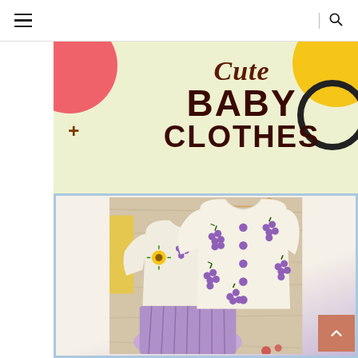Navigation header with hamburger menu and search icon
[Figure (illustration): Promotional banner for Cute Baby Clothes with colorful decorative shapes (pink circle, yellow circle, dark ring, brown cross) on a light yellow-green background, with bold text reading 'Cute BABY CLOTHES']
[Figure (photo): Photo of white baby knit cardigan sweaters with purple grape embellishments and purple buttons, displayed over a purple pleated skirt, framed with a light blue border]